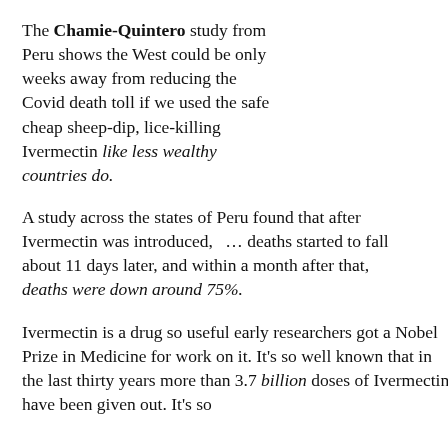The Chamie-Quintero study from Peru shows the West could be only weeks away from reducing the Covid death toll if we used the safe cheap sheep-dip, lice-killing Ivermectin like less wealthy countries do.
A study across the states of Peru found that after Ivermectin was introduced, ... deaths started to fall about 11 days later, and within a month after that, deaths were down around 75%.
Ivermectin is a drug so useful early researchers got a Nobel Prize in Medicine for work on it. It's so well known that in the last thirty years more than 3.7 billion doses of Ivermectin have been given out. It's so